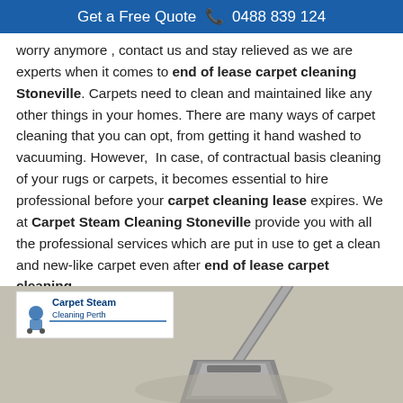Get a Free Quote 📞 0488 839 124
worry anymore , contact us and stay relieved as we are experts when it comes to end of lease carpet cleaning Stoneville. Carpets need to clean and maintained like any other things in your homes. There are many ways of carpet cleaning that you can opt, from getting it hand washed to vacuuming. However, In case, of contractual basis cleaning of your rugs or carpets, it becomes essential to hire professional before your carpet cleaning lease expires. We at Carpet Steam Cleaning Stoneville provide you with all the professional services which are put in use to get a clean and new-like carpet even after end of lease carpet cleaning.
[Figure (photo): A carpet cleaning steam wand/head being used on a light beige carpet, with a Carpet Steam Cleaning Perth logo visible in the bottom-left corner.]